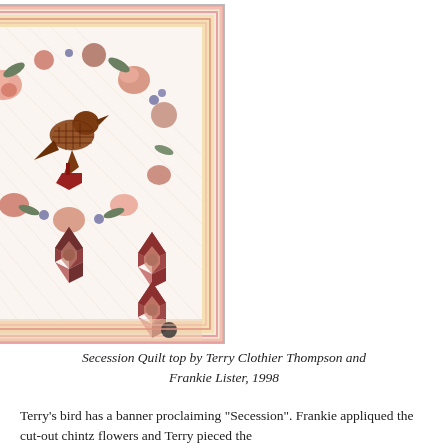[Figure (photo): A quilt top featuring a floral wreath appliqué with a dark bird holding a banner, surrounded by chintz flowers, with star/hexagon patchwork blocks in the lower portion, framed by pink and yellow borders.]
Secession Quilt top by Terry Clothier Thompson and Frankie Lister, 1998
Terry's bird has a banner proclaiming "Secession". Frankie appliqued the cut-out chintz flowers and Terry pieced the